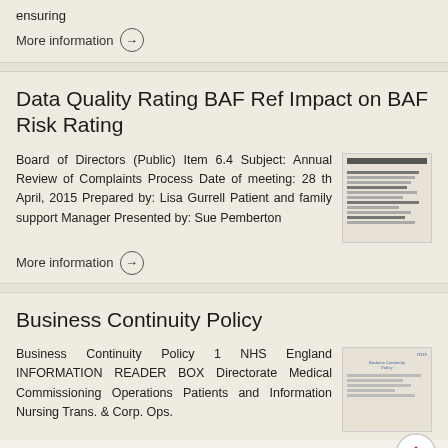ensuring
More information →
Data Quality Rating BAF Ref Impact on BAF Risk Rating
Board of Directors (Public) Item 6.4 Subject: Annual Review of Complaints Process Date of meeting: 28 th April, 2015 Prepared by: Lisa Gurrell Patient and family support Manager Presented by: Sue Pemberton
More information →
Business Continuity Policy
Business Continuity Policy 1 NHS England INFORMATION READER BOX Directorate Medical Commissioning Operations Patients and Information Nursing Trans. & Corp. Ops.